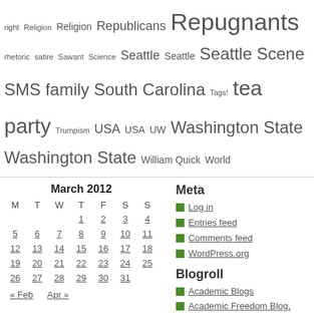right Religion Religion Republicans Repugnants rhetoric satire Sawant Science Seattle Seattle Seattle Scene SMS family South Carolina Tags! tea party Trumpism USA USA UW Washington State Washington State William Quick World
| M | T | W | T | F | S | S |
| --- | --- | --- | --- | --- | --- | --- |
|  |  |  | 1 | 2 | 3 | 4 |
| 5 | 6 | 7 | 8 | 9 | 10 | 11 |
| 12 | 13 | 14 | 15 | 16 | 17 | 18 |
| 19 | 20 | 21 | 22 | 23 | 24 | 25 |
| 26 | 27 | 28 | 29 | 30 | 31 |  |
« Feb   Apr »
Meta
Log in
Entries feed
Comments feed
WordPress.org
Blogroll
Academic Blogs
Academic Freedom Blog, Good Links!
American Institute for Research … education and public policy
Educational Justice
HorsesAss
Science Blogs
Most Popular
A Prof Responds to a Teacher
1981 High School Football Team Photo Lea…
Little Rocket that Michelle Shu… Ith B…